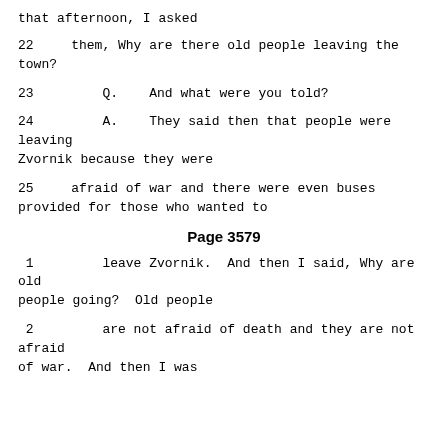that afternoon, I asked
22    them, Why are there old people leaving the town?
23        Q.    And what were you told?
24        A.    They said then that people were leaving Zvornik because they were
25    afraid of war and there were even buses provided for those who wanted to
Page 3579
1        leave Zvornik.  And then I said, Why are old people going?  Old people
2        are not afraid of death and they are not afraid of war.  And then I was